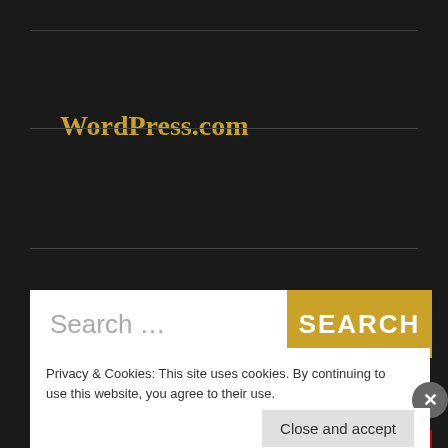WordPress.com
[Figure (other): Follow Eve Messenger button with WordPress logo and follower count 609]
[Figure (screenshot): Search bar with placeholder text 'Search ...' and a gold SEARCH button]
Privacy & Cookies: This site uses cookies. By continuing to use this website, you agree to their use.
To find out more, including how to control cookies, see here: Cookie Policy
Close and accept